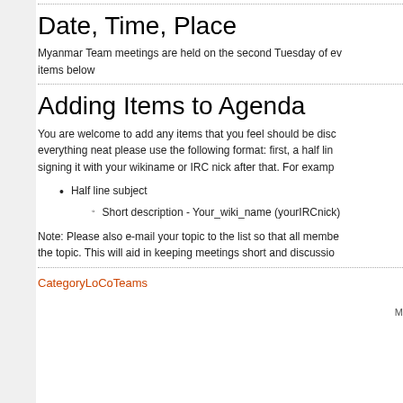Date, Time, Place
Myanmar Team meetings are held on the second Tuesday of every month. See the agenda items below
Adding Items to Agenda
You are welcome to add any items that you feel should be discussed. To keep everything neat please use the following format: first, a half line subject, then signing it with your wikiname or IRC nick after that. For example:
Half line subject
Short description - Your_wiki_name (yourIRCnick)
Note: Please also e-mail your topic to the list so that all members can read the topic. This will aid in keeping meetings short and discussion focused.
CategoryLoCoTeams
M